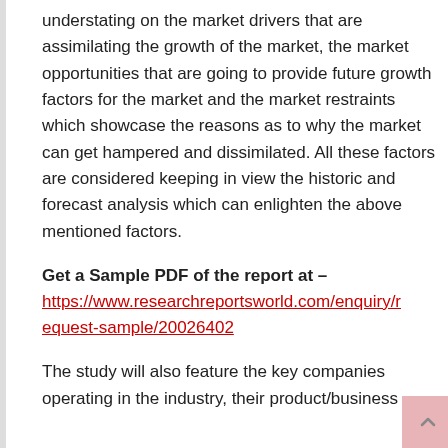understating on the market drivers that are assimilating the growth of the market, the market opportunities that are going to provide future growth factors for the market and the market restraints which showcase the reasons as to why the market can get hampered and dissimilated. All these factors are considered keeping in view the historic and forecast analysis which can enlighten the above mentioned factors.
Get a Sample PDF of the report at – https://www.researchreportsworld.com/enquiry/request-sample/20026402
The study will also feature the key companies operating in the industry, their product/business